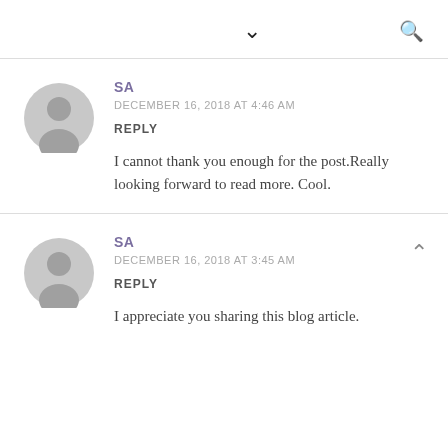▾  🔍
SA
DECEMBER 16, 2018 AT 4:46 AM
REPLY
I cannot thank you enough for the post.Really looking forward to read more. Cool.
SA
DECEMBER 16, 2018 AT 3:45 AM
REPLY
I appreciate you sharing this blog article.